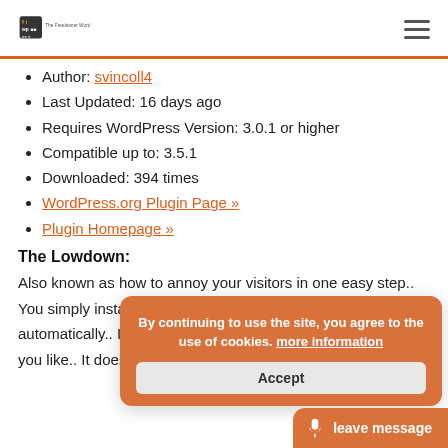FLWP logo and hamburger menu
Author: svincoll4
Last Updated: 16 days ago
Requires WordPress Version: 3.0.1 or higher
Compatible up to: 3.5.1
Downloaded: 394 times
WordPress.org Plugin Page »
Plugin Homepage »
The Lowdown:
Also known as how to annoy your visitors in one easy step.. You simply install it and point to your media and it will start automatically.. It may have a role in increasing your podcast if you like.. It does place a prominent butt… on your page
[Figure (other): Cookie consent overlay popup with orange background, text 'By continuing to use the site, you agree to the use of cookies. more information', and Accept button]
[Figure (other): Orange 'leave message' button with microphone icon at bottom right]